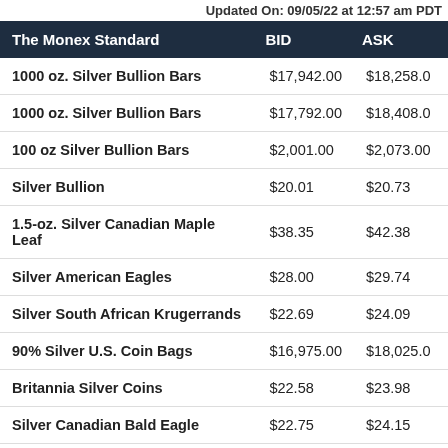Updated On: 09/05/22 at 12:57 am PDT
| The Monex Standard | BID | ASK |
| --- | --- | --- |
| 1000 oz. Silver Bullion Bars | $17,942.00 | $18,258.0 |
| 1000 oz. Silver Bullion Bars | $17,792.00 | $18,408.0 |
| 100 oz Silver Bullion Bars | $2,001.00 | $2,073.00 |
| Silver Bullion | $20.01 | $20.73 |
| 1.5-oz. Silver Canadian Maple Leaf | $38.35 | $42.38 |
| Silver American Eagles | $28.00 | $29.74 |
| Silver South African Krugerrands | $22.69 | $24.09 |
| 90% Silver U.S. Coin Bags | $16,975.00 | $18,025.0 |
| Britannia Silver Coins | $22.58 | $23.98 |
| Silver Canadian Bald Eagle | $22.75 | $24.15 |
| 40% Silver U.S. Coin Bags | $5,636.00 | $5,984.0 |